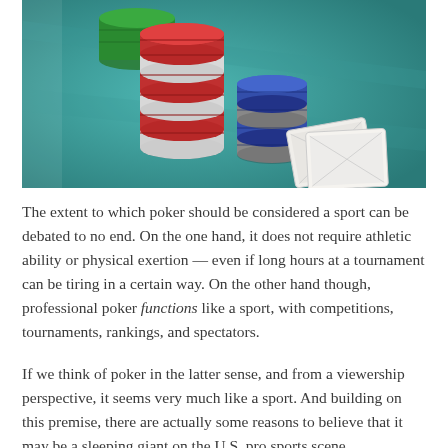[Figure (photo): Photo of poker chips stacked on a teal felt table surface, with playing cards visible in the background to the right.]
The extent to which poker should be considered a sport can be debated to no end. On the one hand, it does not require athletic ability or physical exertion — even if long hours at a tournament can be tiring in a certain way. On the other hand though, professional poker functions like a sport, with competitions, tournaments, rankings, and spectators.
If we think of poker in the latter sense, and from a viewership perspective, it seems very much like a sport. And building on this premise, there are actually some reasons to believe that it may be a sleeping giant on the U.S. pro sports scene.